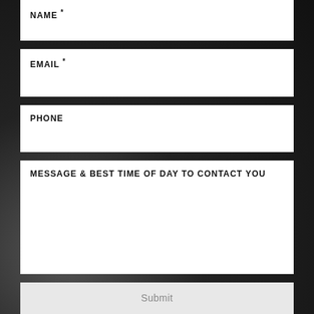NAME *
EMAIL *
PHONE
MESSAGE & BEST TIME OF DAY TO CONTACT YOU
Submit